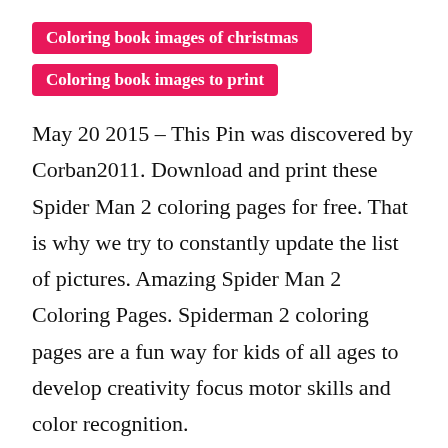Coloring book images of christmas
Coloring book images to print
May 20 2015 - This Pin was discovered by Corban2011. Download and print these Spider Man 2 coloring pages for free. That is why we try to constantly update the list of pictures. Amazing Spider Man 2 Coloring Pages. Spiderman 2 coloring pages are a fun way for kids of all ages to develop creativity focus motor skills and color recognition.
[Figure (other): Close/cancel button icon — black circle with white X]